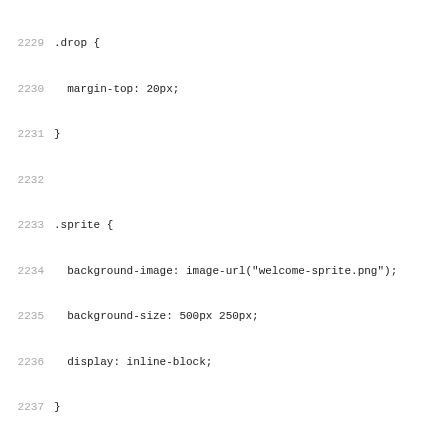[Figure (screenshot): Code listing showing CSS rules for .drop, .sprite, .sprite.small, .sprite.x, .sprite.large, .sprite.one-map, and .sprite.term classes with line numbers 2229-2260]
2229 .drop {
2230   margin-top: 20px;
2231 }
2232
2233 .sprite {
2234   background-image: image-url("welcome-sprite.png");
2235   background-size: 500px 250px;
2236   display: inline-block;
2237 }
2238
2239 .sprite.small {
2240   width: 50px;
2241   height: 50px;
2242 }
2243
2244 .sprite.x {
2245   background-position: -50px 0;
2246 }
2247
2248 .sprite.large {
2249   width: 350px;
2250   height: 200px;
2251 }
2252
2253 .sprite.one-map {
2254   background-position: 0 -50px;
2255 }
2256
2257 .sprite.term {
2258   margin-right: 10px;
2259   vertical-align: middle;
2260 }
2261